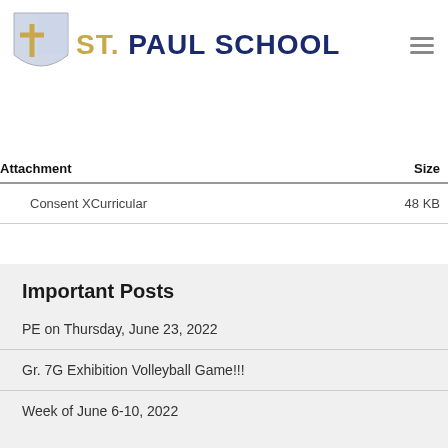ST. PAUL SCHOOL
| Attachment | Size |
| --- | --- |
| Consent XCurricular | 48 KB |
Important Posts
PE on Thursday, June 23, 2022
Gr. 7G Exhibition Volleyball Game!!!
Week of June 6-10, 2022